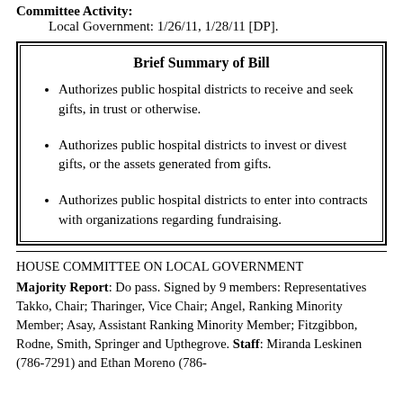Committee Activity:
Local Government: 1/26/11, 1/28/11 [DP].
Brief Summary of Bill
Authorizes public hospital districts to receive and seek gifts, in trust or otherwise.
Authorizes public hospital districts to invest or divest gifts, or the assets generated from gifts.
Authorizes public hospital districts to enter into contracts with organizations regarding fundraising.
HOUSE COMMITTEE ON LOCAL GOVERNMENT
Majority Report: Do pass. Signed by 9 members: Representatives Takko, Chair; Tharinger, Vice Chair; Angel, Ranking Minority Member; Asay, Assistant Ranking Minority Member; Fitzgibbon, Rodne, Smith, Springer and Upthegrove. Staff: Miranda Leskinen (786-7291) and Ethan Moreno (786-